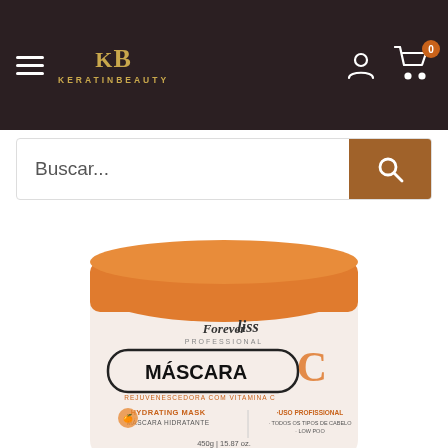KERATINBEAUTY - navigation header with hamburger menu, logo, account icon, and cart icon (0 items)
Buscar...
[Figure (photo): Forever Liss Professional Máscara C - Rejuvenescedora com Vitamina C, Hydrating Mask / Máscara Hidratante, 450g / 15.87 oz. White jar with orange lid.]